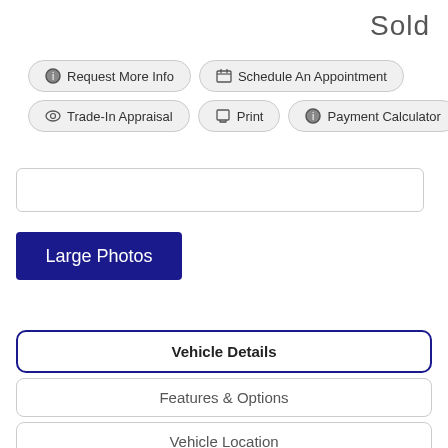Sold
Request More Info
Schedule An Appointment
Trade-In Appraisal
Print
Payment Calculator
Large Photos
Vehicle Details
Features & Options
Vehicle Location
Warranty